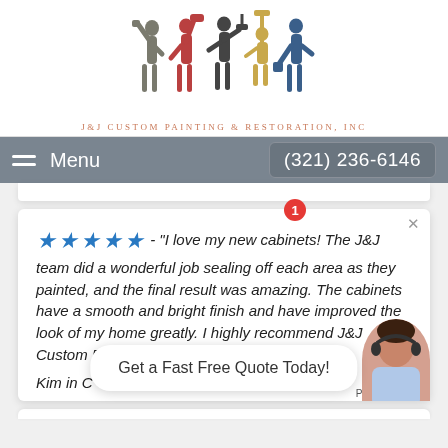[Figure (logo): J&J Custom Painting & Restoration Inc. logo with five colorful silhouette painter figures in gray, red, dark gray, gold, and blue]
J&J CUSTOM PAINTING & RESTORATION, INC
Menu  (321) 236-6146
★★★★★ - "I love my new cabinets! The J&J team did a wonderful job sealing off each area as they painted, and the final result was amazing. The cabinets have a smooth and bright finish and have improved the look of my home greatly. I highly recommend J&J Custom Painting!"
Kim in C
Get a Fast Free Quote Today!
Privacy · Terms